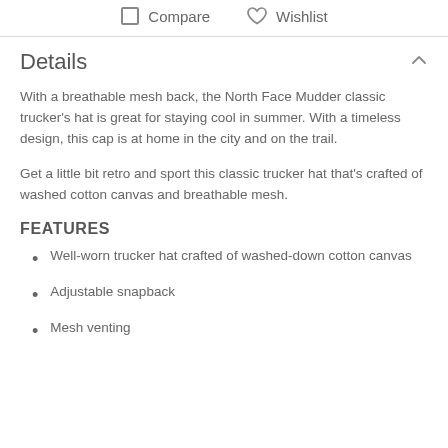Compare   Wishlist
Details
With a breathable mesh back, the North Face Mudder classic trucker's hat is great for staying cool in summer. With a timeless design, this cap is at home in the city and on the trail.
Get a little bit retro and sport this classic trucker hat that's crafted of washed cotton canvas and breathable mesh.
FEATURES
Well-worn trucker hat crafted of washed-down cotton canvas
Adjustable snapback
Mesh venting